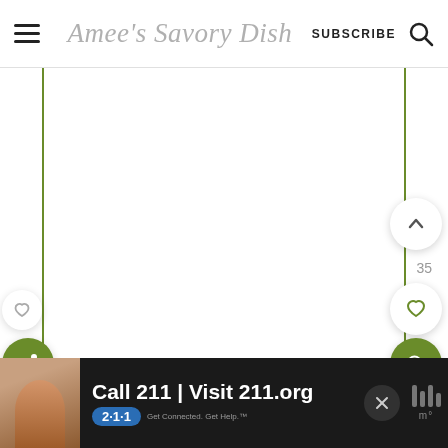Amee's Savory Dish — SUBSCRIBE
[Figure (screenshot): White content area with vertical green border lines on left and right sides, with floating circular UI buttons: up-arrow button, heart/like buttons, share button (green), and search button (green). Number 35 displayed between up and heart buttons on right side.]
[Figure (screenshot): Dark bottom ad banner with child photo, text 'Call 211 | Visit 211.org' with blue 211 badge, close X button, and thermometer/temperature icon on right.]